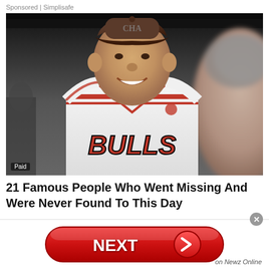Sponsored | Simplisafe
[Figure (photo): Man wearing a Chicago Bulls NBA jersey and a cap, smiling. Another person is partially visible on the right edge, blurred. A 'Paid' label appears in the bottom-left corner of the image.]
21 Famous People Who Went Missing And Were Never Found To This Day
[Figure (other): Red NEXT button with right arrow, and 'on Newz Online' text in bottom right. Small close/X button in top right.]